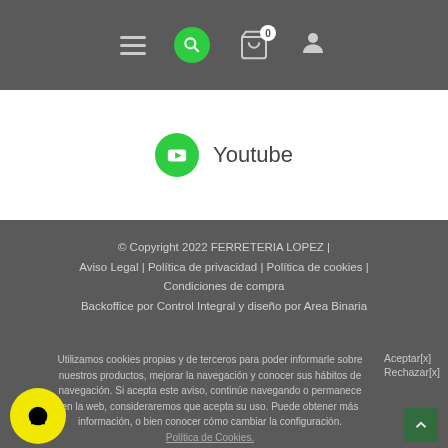[Figure (screenshot): Navigation bar with hamburger menu, green search icon, shopping cart with 0 badge, and user account icon on dark grey background]
[Figure (logo): Green circular YouTube icon followed by the text 'Youtube' on white background]
© Copyright 2022 FERRETERIA LOPEZ | Aviso Legal | Política de privacidad | Política de cookies | Condiciones de compra Backoffice por Control Integral y diseño por Area Binaria
Utilizamos cookies propias y de terceros para poder informarle sobre nuestros productos, mejorar la navegación y conocer sus hábitos de navegación. Si acepta este aviso, continúe navegando o permanece en la web, consideraremos que acepta su uso. Puede obtener más información, o bien conocer cómo cambiar la configuración. Política de Cookies.
Aceptar[x] Rechazar[x]